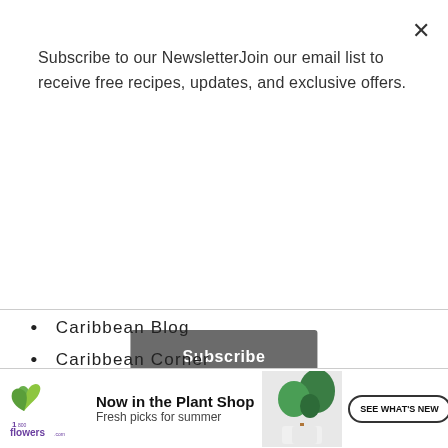Subscribe to our NewsletterJoin our email list to receive free recipes, updates, and exclusive offers.
Subscribe
Caribbean Blog
Caribbean Corner
Clean Eating
Healthy Living
Giveaway
Product Review
[Figure (infographic): 1-800-flowers.com advertisement banner. Logo on left with purple flower icon and '1800 flowers.com' text, headline 'Now in the Plant Shop', subheadline 'Fresh picks for summer', photo of potted tropical plants, and CTA button 'SEE WHAT'S NEW'.]